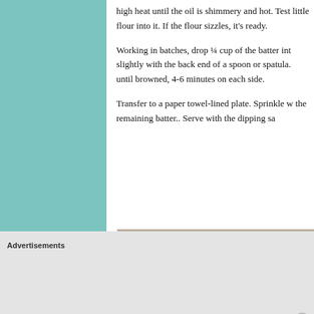high heat until the oil is shimmery and hot. Test little flour into it. If the flour sizzles, it's ready.
Working in batches, drop ¼ cup of the batter int slightly with the back end of a spoon or spatula. until browned, 4-6 minutes on each side.
Transfer to a paper towel-lined plate. Sprinkle w the remaining batter.. Serve with the dipping sa
[Figure (photo): A decorative plate with red rim and blue border featuring apple motifs, containing food items that appear to be fried or cooked pieces with sprouts or garnish, on a granite-look surface.]
Advertisements